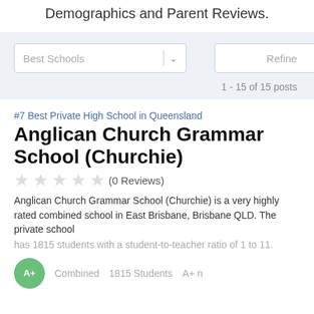Demographics and Parent Reviews.
[Figure (screenshot): Filter bar with Best Schools dropdown and Refine button]
1 - 15 of 15 posts
#7 Best Private High School in Queensland
Anglican Church Grammar School (Churchie)
(0 Reviews)
Anglican Church Grammar School (Churchie) is a very highly rated combined school in East Brisbane, Brisbane QLD. The private school has 1815 students with a student-to-teacher ratio of 1 to 11.
Combined    1815 Students    A+ n